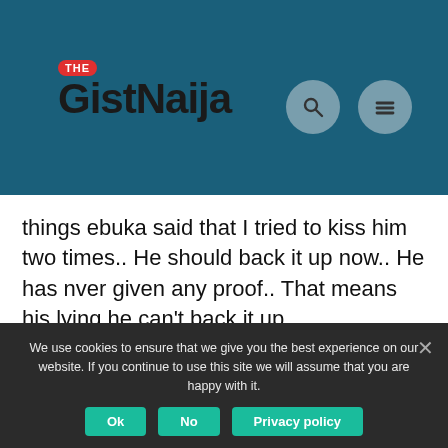[Figure (logo): TheGistNaija logo on dark teal header with search and menu icons]
things ebuka said that I tried to kiss him two times.. He should back it up now.. He has nver given any proof.. That means his lying he can't back it up..
We use cookies to ensure that we give you the best experience on our website. If you continue to use this site we will assume that you are happy with it.
Ok   No   Privacy policy